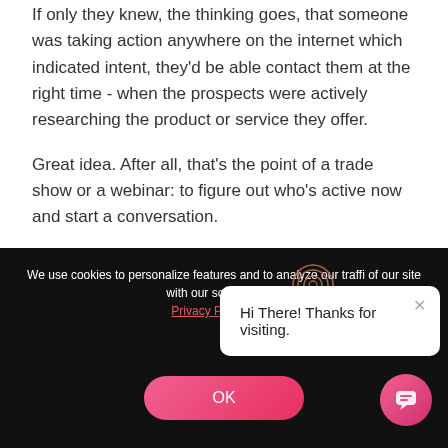If only they knew, the thinking goes, that someone was taking action anywhere on the internet which indicated intent, they'd be able contact them at the right time - when the prospects were actively researching the product or service they offer.
Great idea. After all, that's the point of a trade show or a webinar: to figure out who's active now and start a conversation.
We use cookies to personalize features and to analyze our traffic of our site with our social media, Privacy Policy here.
[Figure (other): Chat popup overlay with fingerprint icon and close button, showing message 'Hi There! Thanks for visiting.']
OK
[Figure (other): Pink chat bubble button in bottom right corner]